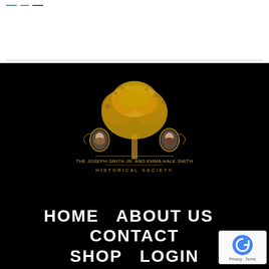[Figure (logo): Navigation hamburger menu icon with three horizontal lines (cyan, gray, dark gray) in top left corner of white header area]
[Figure (logo): The Joseph Smith Jr. and Emma Hale Smith Historical Society logo: gold metallic tree with ornate scrollwork, two portrait medallions (Joseph Smith Jr. and Emma Hale Smith), text 'THE JOSEPH SMITH JR. AND EMMA HALE SMITH' and 'HISTORICAL SOCIETY' on black background]
HOME  ABOUT US  CONTACT  SHOP  LOGIN